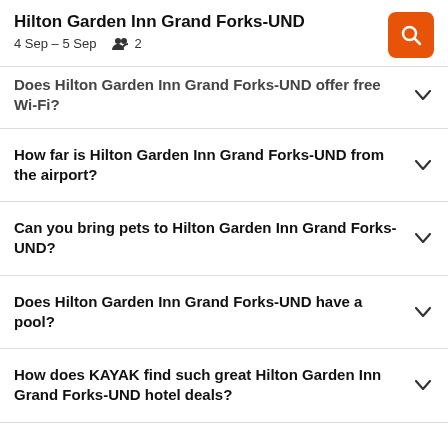Hilton Garden Inn Grand Forks-UND
4 Sep – 5 Sep   2
Does Hilton Garden Inn Grand Forks-UND offer free Wi-Fi?
How far is Hilton Garden Inn Grand Forks-UND from the airport?
Can you bring pets to Hilton Garden Inn Grand Forks-UND?
Does Hilton Garden Inn Grand Forks-UND have a pool?
How does KAYAK find such great Hilton Garden Inn Grand Forks-UND hotel deals?